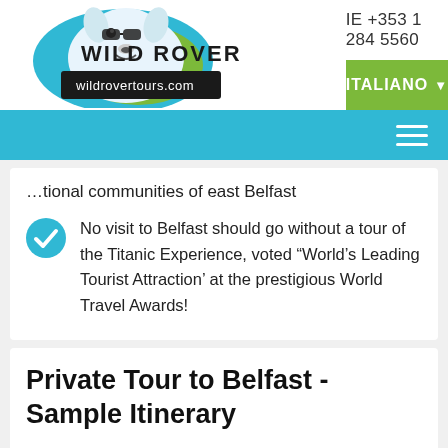IE +353 1 284 5560 | ITALIANO
[Figure (logo): Wild Rover Tours logo - white bull terrier dog with Wild Rover text and wildrovertours.com URL]
...tional communities of east Belfast
No visit to Belfast should go without a tour of the Titanic Experience, voted “World’s Leading Tourist Attraction’ at the prestigious World Travel Awards!
Private Tour to Belfast - Sample Itinerary
Make the most of your time in Ireland with a private, escorted tour with Wild Rover Tours. Your personal guide